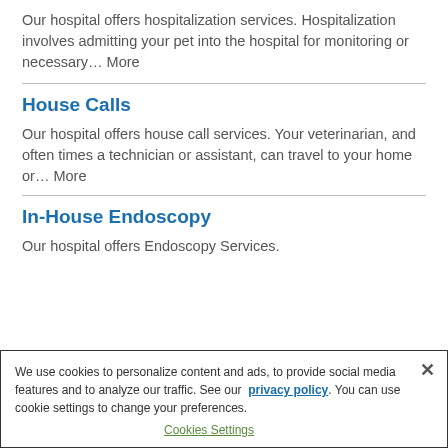Our hospital offers hospitalization services. Hospitalization involves admitting your pet into the hospital for monitoring or necessary… More
House Calls
Our hospital offers house call services.  Your veterinarian, and often times a technician or assistant, can travel to your home or… More
In-House Endoscopy
Our hospital offers Endoscopy Services.
We use cookies to personalize content and ads, to provide social media features and to analyze our traffic. See our privacy policy. You can use cookie settings to change your preferences.
Cookies Settings